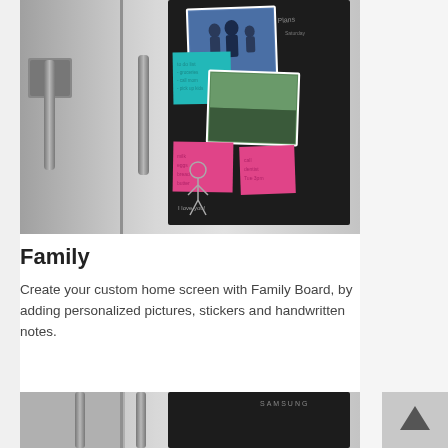[Figure (photo): Samsung side-by-side refrigerator with Family Board black panel on the right door, showing photos, colorful sticky notes, and handwritten chalk drawings]
Family
Create your custom home screen with Family Board, by adding personalized pictures, stickers and handwritten notes.
[Figure (photo): Partial view of Samsung refrigerator bottom portion showing the black Family Board panel with Samsung logo]